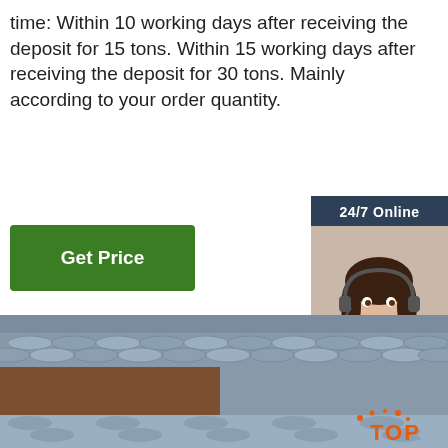time: Within 10 working days after receiving the deposit for 15 tons. Within 15 working days after receiving the deposit for 30 tons. Mainly according to your order quantity.
Get Price
[Figure (photo): Customer service representative with headset, 24/7 Online widget with 'Click here for free chat!' text and QUOTATION button]
[Figure (photo): Large photo of steel round bars/rods stacked at a construction or steel yard site, with brown earth visible. A TOP logo watermark is visible in the lower right.]